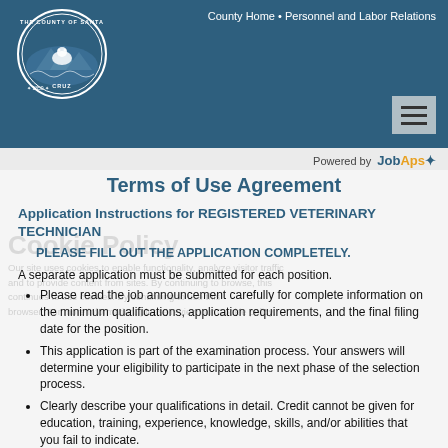County Home • Personnel and Labor Relations
[Figure (logo): County of Santa Cruz seal, circular badge with bear and mountain, established 1850]
Terms of Use Agreement
Application Instructions for REGISTERED VETERINARY TECHNICIAN
PLEASE FILL OUT THE APPLICATION COMPLETELY.
A separate application must be submitted for each position.
Please read the job announcement carefully for complete information on the minimum qualifications, application requirements, and the final filing date for the position.
This application is part of the examination process. Your answers will determine your eligibility to participate in the next phase of the selection process.
Clearly describe your qualifications in detail. Credit cannot be given for education, training, experience, knowledge, skills, and/or abilities that you fail to indicate.